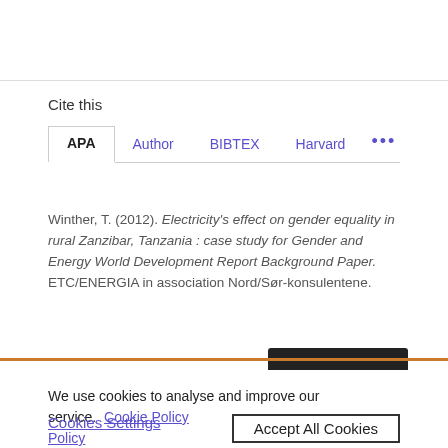Cite this
APA  Author  BIBTEX  Harvard  ...
Winther, T. (2012). Electricity's effect on gender equality in rural Zanzibar, Tanzania : case study for Gender and Energy World Development Report Background Paper. ETC/ENERGIA in association Nord/Sør-konsulentene.
We use cookies to analyse and improve our service. Cookie Policy
Cookies Settings    Accept All Cookies